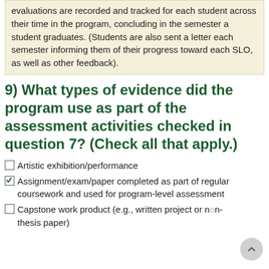evaluations are recorded and tracked for each student across their time in the program, concluding in the semester a student graduates. (Students are also sent a letter each semester informing them of their progress toward each SLO, as well as other feedback).
9) What types of evidence did the program use as part of the assessment activities checked in question 7? (Check all that apply.)
Artistic exhibition/performance
Assignment/exam/paper completed as part of regular coursework and used for program-level assessment
Capstone work product (e.g., written project or non-thesis paper)